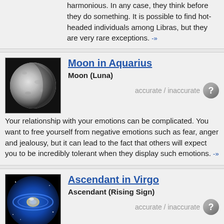harmonious. In any case, they think before they do something. It is possible to find hot-headed individuals among Libras, but they are very rare exceptions. -»
Moon in Aquarius
Moon (Luna)
accurate / inaccurate
Your relationship with your emotions can be complicated. You want to free yourself from negative emotions such as fear, anger and jealousy, but it can lead to the fact that others will expect you to be incredibly tolerant when they display such emotions. -»
Ascendant in Virgo
Ascendant (Rising Sign)
accurate / inaccurate
People with Virgo Ascendant develop the best through spiritual analysis, discernment and self-criticism. Application of knowledge must be appropriate and consider the benefits that it brings - it must be beneficial to the public. -»